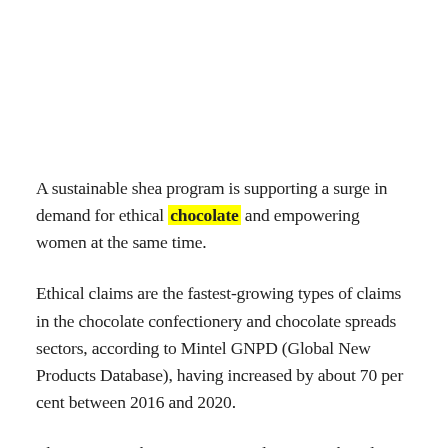A sustainable shea program is supporting a surge in demand for ethical chocolate and empowering women at the same time.
Ethical claims are the fastest-growing types of claims in the chocolate confectionery and chocolate spreads sectors, according to Mintel GNPD (Global New Products Database), having increased by about 70 per cent between 2016 and 2020.
There is more than just cocoa and sugar in chocolate and consumers and companies increasingly want all ingredients to be sustainable, and demand for sustainably sourced shea is